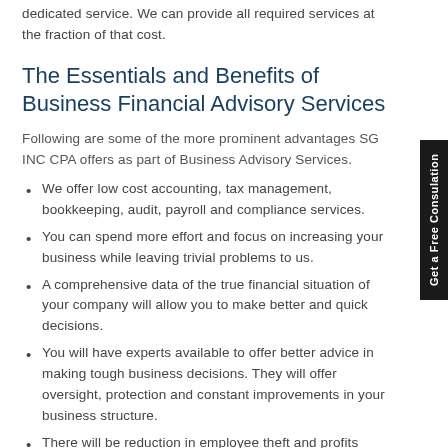dedicated service. We can provide all required services at the fraction of that cost.
The Essentials and Benefits of Business Financial Advisory Services
Following are some of the more prominent advantages SG INC CPA offers as part of Business Advisory Services.
We offer low cost accounting, tax management, bookkeeping, audit, payroll and compliance services.
You can spend more effort and focus on increasing your business while leaving trivial problems to us.
A comprehensive data of the true financial situation of your company will allow you to make better and quick decisions.
You will have experts available to offer better advice in making tough business decisions. They will offer oversight, protection and constant improvements in your business structure.
There will be reduction in employee theft and profits